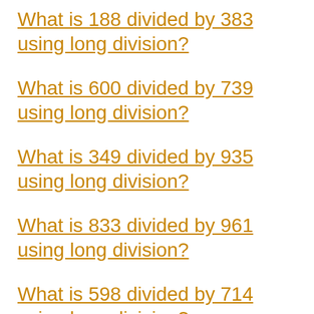What is 188 divided by 383 using long division?
What is 600 divided by 739 using long division?
What is 349 divided by 935 using long division?
What is 833 divided by 961 using long division?
What is 598 divided by 714 using long division?
What is 38 divided by 977 using long division?